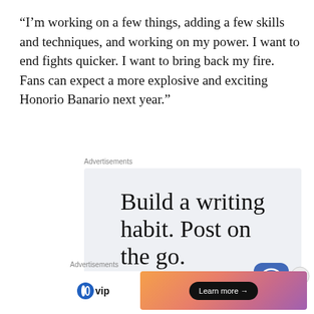“I’m working on a few things, adding a few skills and techniques, and working on my power. I want to end fights quicker. I want to bring back my fire. Fans can expect a more explosive and exciting Honorio Banario next year.”
Advertisements
[Figure (screenshot): Advertisement banner: 'Build a writing habit. Post on the go.' with WordPress logo and GET THE APP call to action]
Advertisements
[Figure (screenshot): WordPress VIP advertisement with Learn more button on gradient background]